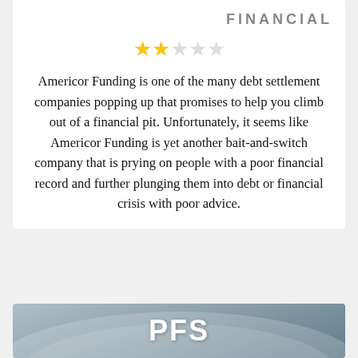FINANCIAL
[Figure (other): 2 out of 5 stars rating: two filled gold stars and three empty stars]
Americor Funding is one of the many debt settlement companies popping up that promises to help you climb out of a financial pit. Unfortunately, it seems like Americor Funding is yet another bait-and-switch company that is prying on people with a poor financial record and further plunging them into debt or financial crisis with poor advice.
[Figure (logo): PFS logo on a blue-grey gradient banner with arc design]